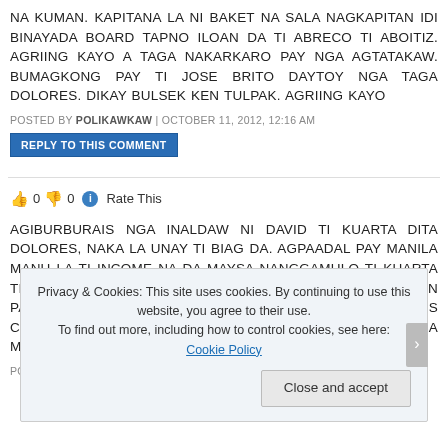NA KUMAN. KAPITANA LA NI BAKET NA SALA NAGKAPITAN IDI BINAYADA BOARD TAPNO ILOAN DA TI ABRECO TI ABOITIZ. AGRIING KAYO A TAGA NAKARKARO PAY NGA AGTATAKAW. BUMAGKONG PAY TI JOSE BRITO DAYTOY NGA TAGA DOLORES. DIKAY BULSEK KEN TULPAK. AGRIING KAYO
POSTED BY POLIKAWKAW | OCTOBER 11, 2012, 12:16 AM
REPLY TO THIS COMMENT
0  0  Rate This
AGIBURBURAIS NGA INALDAW NI DAVID TI KUARTA DITA DOLORES, NAKA LA UNAY TI BIAG DA. AGPAADAL PAY MANILA MANU LA TI INCOME NA DA MAYSA NANGGAMULO TI KUARTA TI ABRECO. ISU TI CHAIRMAN OF THE RESOLUTION PANAGLOAN DINA PAY AMMO NGA INSAKIT TAGA DOLORES CONG JOY APAYA NGA DAYTA NGA TAO TI PINILI DA NGA MANOKEN . MANG
POSTED BY GORILYA TI ABRA | OCTOBER 11, 2012, 12:22 AM
Privacy & Cookies: This site uses cookies. By continuing to use this website, you agree to their use.
To find out more, including how to control cookies, see here: Cookie Policy
Close and accept